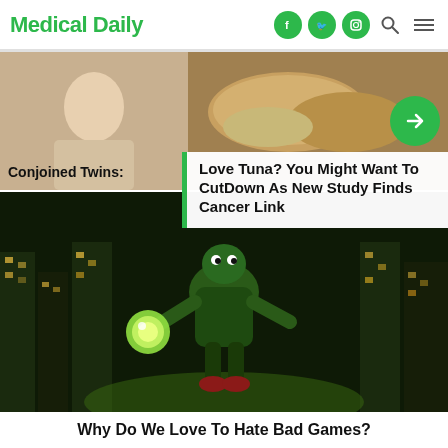Medical Daily
[Figure (screenshot): Medical Daily website screenshot showing navigation header with logo, social icons (Facebook, Twitter, Instagram), search and menu icons]
Conjoined Twins:
[Figure (photo): Photo of tuna sandwich/open-faced tuna on bread with toppings]
Love Tuna? You Might Want To CutDown As New Study Finds Cancer Link
[Figure (illustration): Animated video game character (Sonic-style) holding a glowing green orb against a nighttime city skyline background]
Why Do We Love To Hate Bad Games?